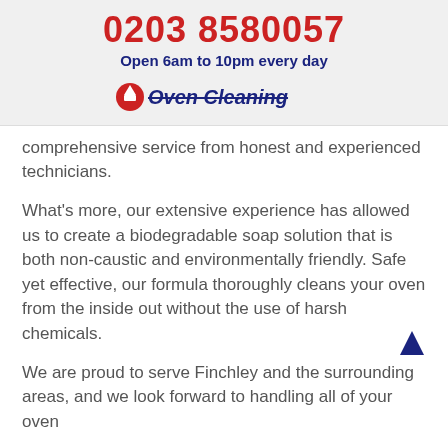0203 8580057
Open 6am to 10pm every day
[Figure (logo): Oven Cleaning logo with red icon and italic text]
comprehensive service from honest and experienced technicians.
What's more, our extensive experience has allowed us to create a biodegradable soap solution that is both non-caustic and environmentally friendly. Safe yet effective, our formula thoroughly cleans your oven from the inside out without the use of harsh chemicals.
We are proud to serve Finchley and the surrounding areas, and we look forward to handling all of your oven